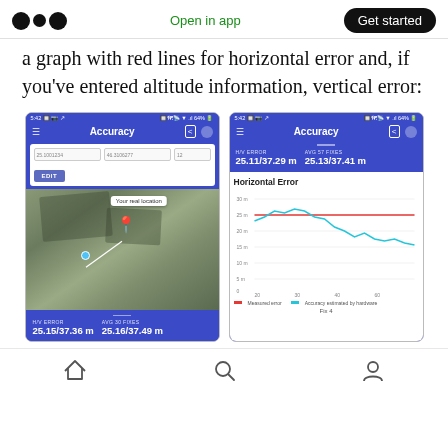Open in app | Get started
a graph with red lines for horizontal error and, if you've entered altitude information, vertical error:
[Figure (screenshot): Mobile app screenshot showing Accuracy screen with map view. H/V ERROR 25.15/37.36 m, AVG 30 FIXES 25.16/37.49 m. Map shows satellite view with 'Your real location' tooltip and location pin.]
[Figure (screenshot): Mobile app screenshot showing Accuracy screen with Horizontal Error graph. H/V ERROR 25.11/37.29 m, AVG 57 FIXES 25.13/37.41 m. Chart shows measured error (red line) and accuracy estimated by hardware (teal line). Fix 4.]
Home | Search | Profile navigation icons